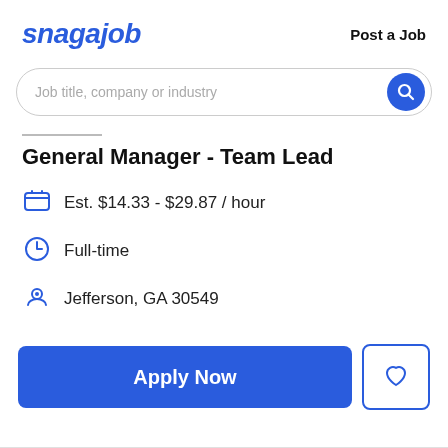snagajob   Post a Job
[Figure (screenshot): Search bar with placeholder text 'Job title, company or industry' and a blue circular search button]
General Manager - Team Lead
Est. $14.33 - $29.87 / hour
Full-time
Jefferson, GA 30549
Apply Now